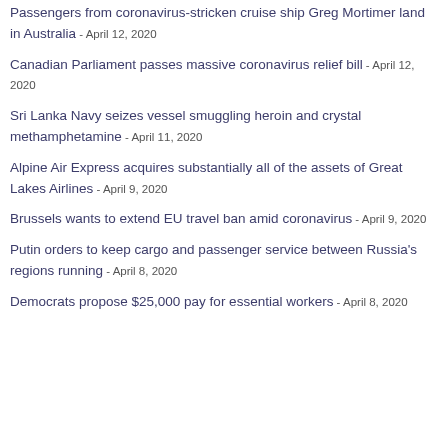Passengers from coronavirus-stricken cruise ship Greg Mortimer land in Australia - April 12, 2020
Canadian Parliament passes massive coronavirus relief bill - April 12, 2020
Sri Lanka Navy seizes vessel smuggling heroin and crystal methamphetamine - April 11, 2020
Alpine Air Express acquires substantially all of the assets of Great Lakes Airlines - April 9, 2020
Brussels wants to extend EU travel ban amid coronavirus - April 9, 2020
Putin orders to keep cargo and passenger service between Russia's regions running - April 8, 2020
Democrats propose $25,000 pay for essential workers - April 8, 2020